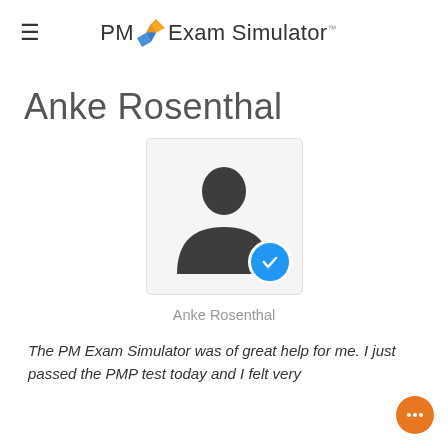PM Exam Simulator™
Anke Rosenthal
[Figure (illustration): User profile avatar silhouette with a blue checkmark badge in the bottom right corner, inside a light gray rounded rectangle box.]
Anke Rosenthal
The PM Exam Simulator was of great help for me. I just passed the PMP test today and I felt very